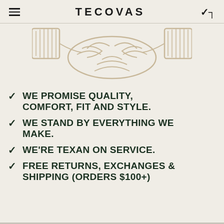TECOVAS
[Figure (illustration): Line-art illustration of two hands shaking, drawn in a beige/tan style on a light background.]
WE PROMISE QUALITY, COMFORT, FIT AND STYLE.
WE STAND BY EVERYTHING WE MAKE.
WE'RE TEXAN ON SERVICE.
FREE RETURNS, EXCHANGES & SHIPPING (ORDERS $100+)